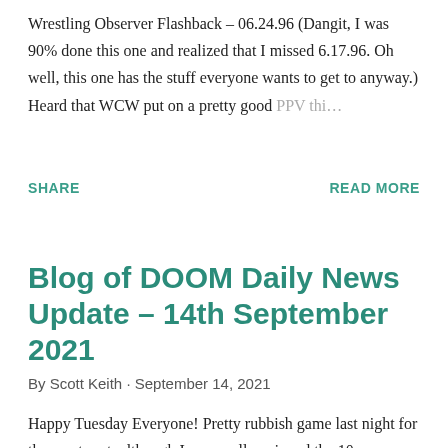Wrestling Observer Flashback – 06.24.96 (Dangit, I was 90% done this one and realized that I missed 6.17.96. Oh well, this one has the stuff everyone wants to get to anyway.) Heard that WCW put on a pretty good PPV this …
SHARE
READ MORE
Blog of DOOM Daily News Update – 14th September 2021
By Scott Keith · September 14, 2021
Happy Tuesday Everyone! Pretty rubbish game last night for the most part, although I personally enjoyed the 10